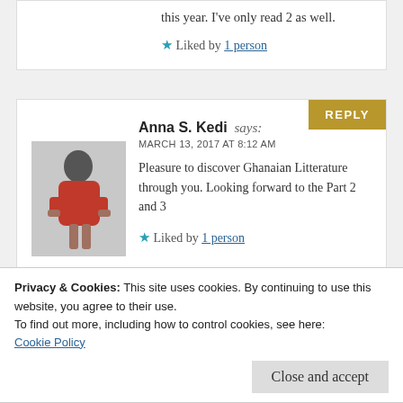this year. I've only read 2 as well.
★ Liked by 1 person
Anna S. Kedi says:
MARCH 13, 2017 AT 8:12 AM
Pleasure to discover Ghanaian Litterature through you. Looking forward to the Part 2 and 3
★ Liked by 1 person
Privacy & Cookies: This site uses cookies. By continuing to use this website, you agree to their use.
To find out more, including how to control cookies, see here:
Cookie Policy
Close and accept